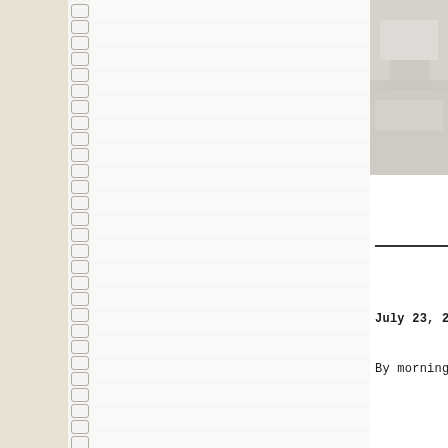[Figure (photo): Photograph partially visible in upper right corner, showing what appears to be a light-colored interior scene, faded and pale tones]
July 23, 2013
By morning, the y